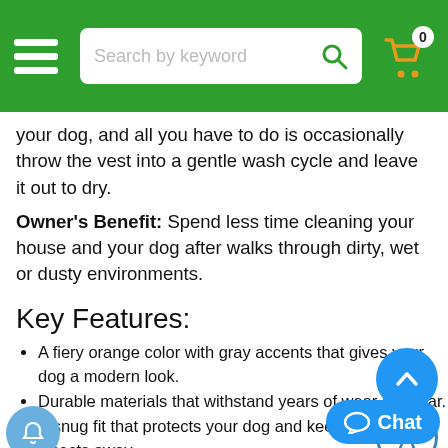[Figure (screenshot): Green navigation header bar with hamburger menu, search bar reading 'Search by keyword', and a shopping cart icon with badge showing '0']
your dog, and all you have to do is occasionally throw the vest into a gentle wash cycle and leave it out to dry.
Owner's Benefit: Spend less time cleaning your house and your dog after walks through dirty, wet or dusty environments.
Key Features:
A fiery orange color with gray accents that gives your dog a modern look.
Durable materials that withstand years of wear and tear.
A snug fit that protects your dog and keeps dirt and insects away.
A versatile design that keeps your dog comfortable on cool or cold days.
A soft neoprene material that shields your dog from wind, light rain, and snow while maintaining